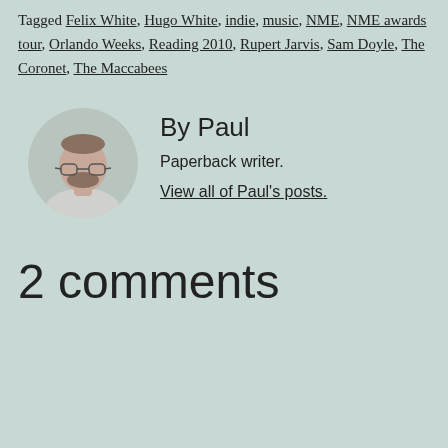Tagged Felix White, Hugo White, indie, music, NME, NME awards tour, Orlando Weeks, Reading 2010, Rupert Jarvis, Sam Doyle, The Coronet, The Maccabees
[Figure (photo): Circular profile photo of a man with short hair and glasses wearing a light grey t-shirt, against a light background.]
By Paul
Paperback writer.
View all of Paul's posts.
2 comments